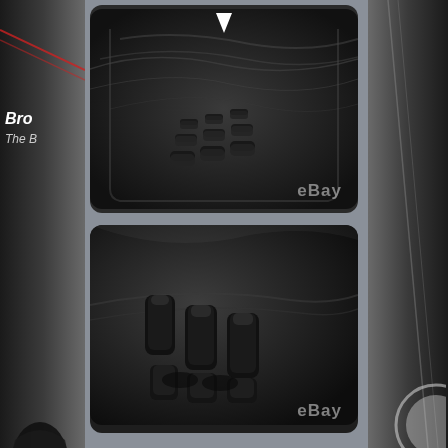[Figure (photo): eBay product listing page showing two close-up photos of a black rubber car floor mat with anti-slip cleats/nubs on the underside. The top photo has a white downward arrow indicating a feature. Both photos have an eBay watermark. The page has a dark grey background on sides with partial UI elements visible.]